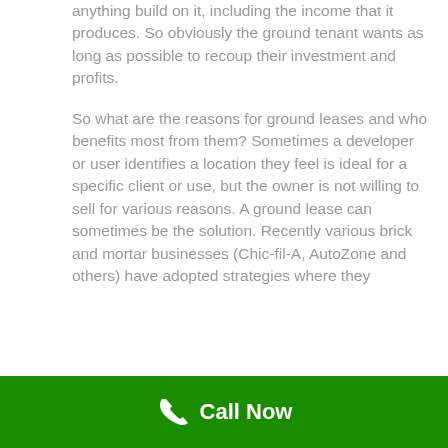anything build on it, including the income that it produces. So obviously the ground tenant wants as long as possible to recoup their investment and profits.
So what are the reasons for ground leases and who benefits most from them? Sometimes a developer or user identifies a location they feel is ideal for a specific client or use, but the owner is not willing to sell for various reasons. A ground lease can sometimes be the solution. Recently various brick and mortar businesses (Chic-fil-A, AutoZone and others) have adopted strategies where they
Call Now